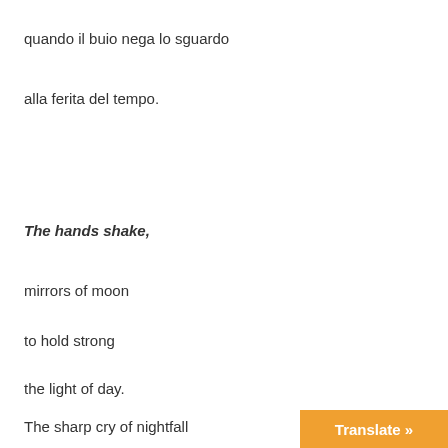quando il buio nega lo sguardo
alla ferita del tempo.
The hands shake,
mirrors of moon
to hold strong
the light of day.
The sharp cry of nightfall